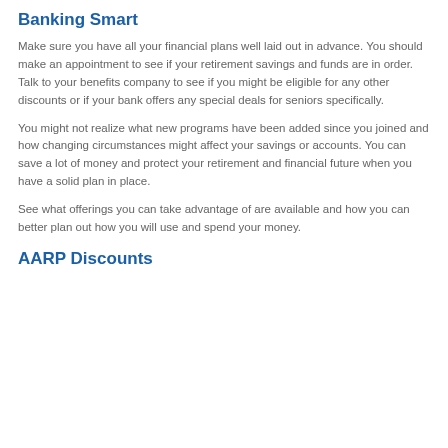Banking Smart
Make sure you have all your financial plans well laid out in advance. You should make an appointment to see if your retirement savings and funds are in order. Talk to your benefits company to see if you might be eligible for any other discounts or if your bank offers any special deals for seniors specifically.
You might not realize what new programs have been added since you joined and how changing circumstances might affect your savings or accounts. You can save a lot of money and protect your retirement and financial future when you have a solid plan in place.
See what offerings you can take advantage of are available and how you can better plan out how you will use and spend your money.
AARP Discounts